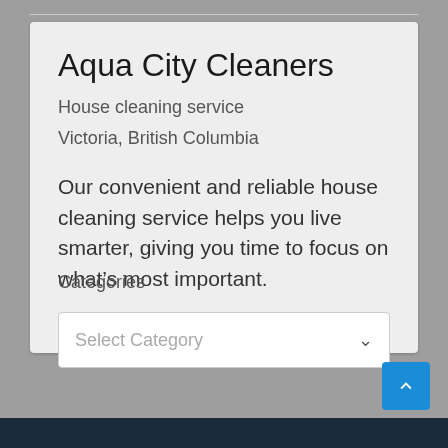Aqua City Cleaners
House cleaning service
Victoria, British Columbia
Our convenient and reliable house cleaning service helps you live smarter, giving you time to focus on what’s most important.
Categories
Select Category